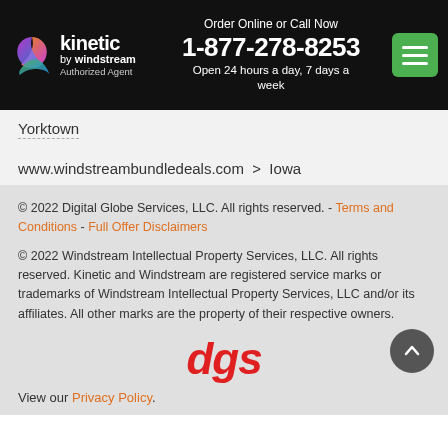[Figure (logo): Kinetic by Windstream Authorized Agent logo with colorful swirl icon, white text on black background, phone number 1-877-278-8253, green menu button]
Yorktown
www.windstreambundledeals.com  >  Iowa
© 2022 Digital Globe Services, LLC. All rights reserved. - Terms and Conditions - Full Offer Disclaimers
© 2022 Windstream Intellectual Property Services, LLC. All rights reserved. Kinetic and Windstream are registered service marks or trademarks of Windstream Intellectual Property Services, LLC and/or its affiliates. All other marks are the property of their respective owners.
[Figure (logo): dgs logo in red italic bold text]
View our Privacy Policy.